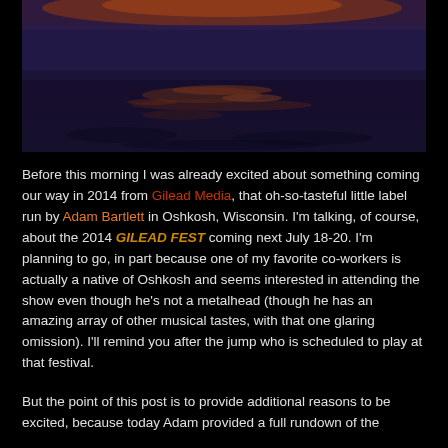[Figure (photo): A dark landscape photo showing a reflective water surface with blue-purple hues and orange light reflections, appearing to be a sunset or dawn scene over a flat sandy or icy terrain.]
Before this morning I was already excited about something coming our way in 2014 from Gilead Media, that oh-so-tasteful little label run by Adam Bartlett in Oshkosh, Wisconsin. I'm talking, of course, about the 2014 GILEAD FEST coming next July 18-20. I'm planning to go, in part because one of my favorite co-workers is actually a native of Oshkosh and seems interested in attending the show even though he's not a metalhead (though he has an amazing array of other musical tastes, with that one glaring omission). I'll remind you after the jump who is scheduled to play at that festival.
But the point of this post is to provide additional reasons to be excited, because today Adam provided a full rundown of the